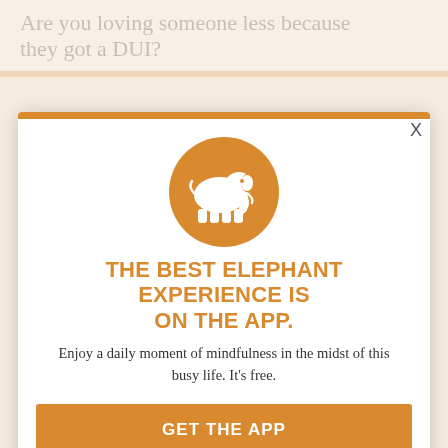Are you loving someone less because they got a DUI?
Are you loving someone less because you don't agree with their significant other?
they don't go to college?
Are you loving your puppy less because it's no longer a cute face behind glass and it's chewing your favorite shoes?
[Figure (logo): Orange circle with white elephant silhouette — Elephant Journal app icon]
THE BEST ELEPHANT EXPERIENCE IS ON THE APP.
Enjoy a daily moment of mindfulness in the midst of this busy life. It's free.
GET THE APP
OPEN IN APP